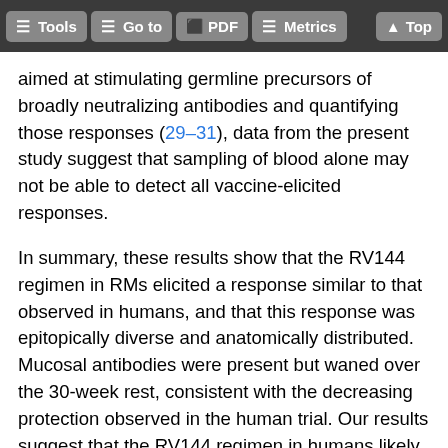Tools | Go to | PDF | Metrics | Top
aimed at stimulating germline precursors of broadly neutralizing antibodies and quantifying those responses (29–31), data from the present study suggest that sampling of blood alone may not be able to detect all vaccine-elicited responses.
In summary, these results show that the RV144 regimen in RMs elicited a response similar to that observed in humans, and that this response was epitopically diverse and anatomically distributed. Mucosal antibodies were present but waned over the 30-week rest, consistent with the decreasing protection observed in the human trial. Our results suggest that the RV144 regimen in humans likely did not induce antigen-specific B cell trafficking to intestinal mucosae.